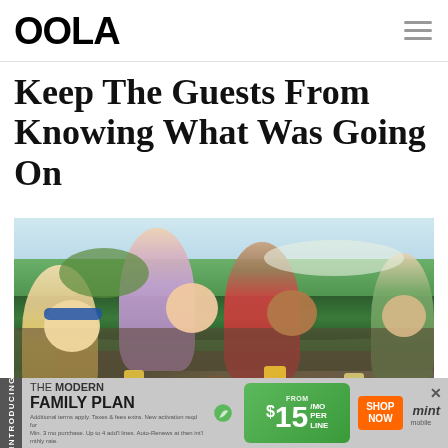OOLA
Keep The Guests From Knowing What Was Going On
[Figure (photo): Four older adults — two men and two women — sitting outdoors at a table with drinks, smiling and chatting. Background shows green hedges and a golf course.]
INTRODUCING THE MODERN FAMILY PLAN FROM $15/MO PER LINE SHOP NOW mint mobile